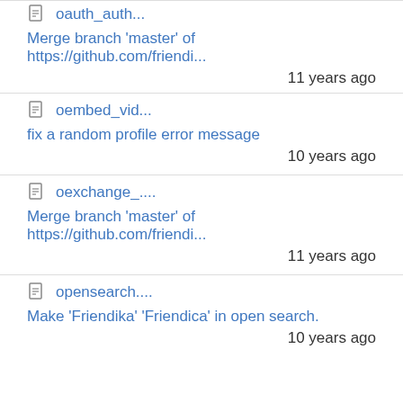oauth_auth...
Merge branch 'master' of https://github.com/friendi...
11 years ago
oembed_vid...
fix a random profile error message
10 years ago
oexchange_....
Merge branch 'master' of https://github.com/friendi...
11 years ago
opensearch....
Make 'Friendika' 'Friendica' in open search.
10 years ago